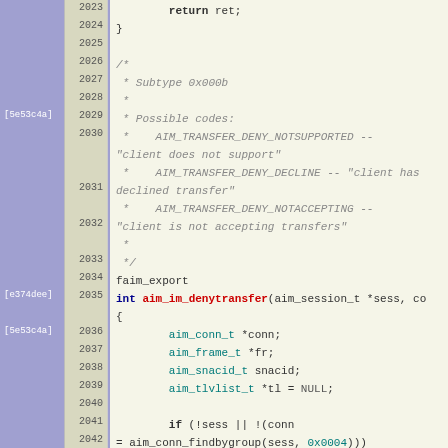[Figure (screenshot): Source code viewer showing C code for aim_im_denytransfer function, lines 2023-2048, with line numbers, git blame annotations, and syntax highlighting.]